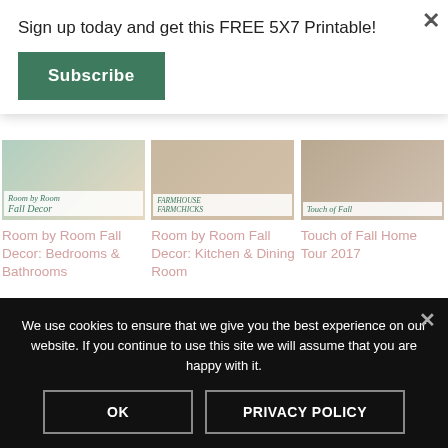Sign up today and get this FREE 5X7 Printable!
Subscribe
×
[Figure (photo): Room by Room Fall Decor Bedrooms & Bathrooms blog post thumbnail image]
Room by Room Fall Decor: Bedrooms & Bathrooms
[Figure (photo): Room by Room Fall Decor Kitchen & Dining Room blog post thumbnail image]
Room by Room Fall Decor: Kitchen & Dining Room
[Figure (photo): Touch of Fall Home Tour 2017 blog post thumbnail image]
Touch of Fall Home Tour 2017
We use cookies to ensure that we give you the best experience on our website. If you continue to use this site we will assume that you are happy with it.
OK
PRIVACY POLICY
×